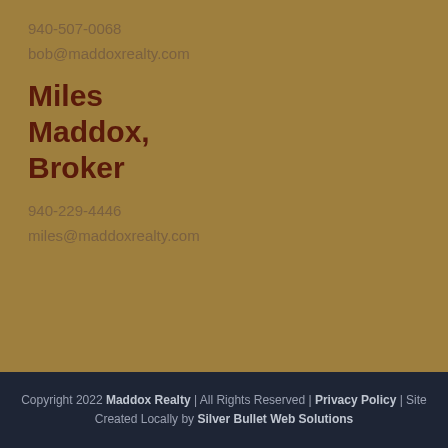940-507-0068
bob@maddoxrealty.com
Miles Maddox, Broker
940-229-4446
miles@maddoxrealty.com
Copyright 2022 Maddox Realty | All Rights Reserved | Privacy Policy | Site Created Locally by Silver Bullet Web Solutions